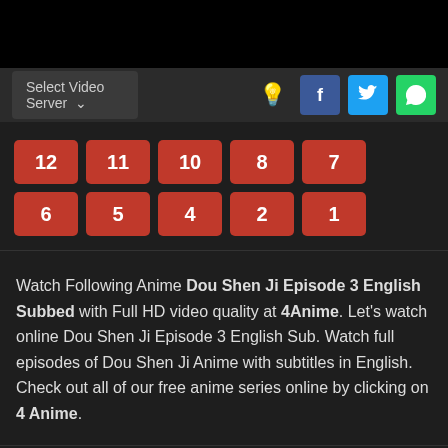Select Video Server
12
11
10
8
7
6
5
4
2
1
Watch Following Anime Dou Shen Ji Episode 3 English Subbed with Full HD video quality at 4Anime. Let's watch online Dou Shen Ji Episode 3 English Sub. Watch full episodes of Dou Shen Ji Anime with subtitles in English. Check out all of our free anime series online by clicking on 4 Anime.
Dou Shen Ji
Ancient Girl's-Frame, Toushinki G's Frame, 斗神姬, 鬥神姬